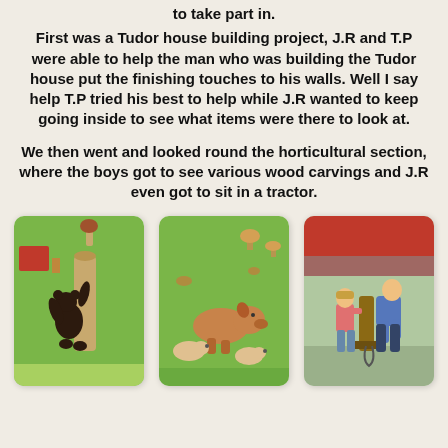to take part in.
First was a Tudor house building project, J.R and T.P were able to help the man who was building the Tudor house put the finishing touches to his walls. Well I say help T.P tried his best to help while J.R wanted to keep going inside to see what items were there to look at.
We then went and looked round the horticultural section, where the boys got to see various wood carvings and J.R even got to sit in a tractor.
[Figure (photo): A wooden carved bear climbing a tree stump, displayed on grass with various items in the background.]
[Figure (photo): Several wooden carved pig and piglet figures on grass.]
[Figure (photo): A child and an adult man working with a wooden device outdoors, with a red vehicle in the background.]